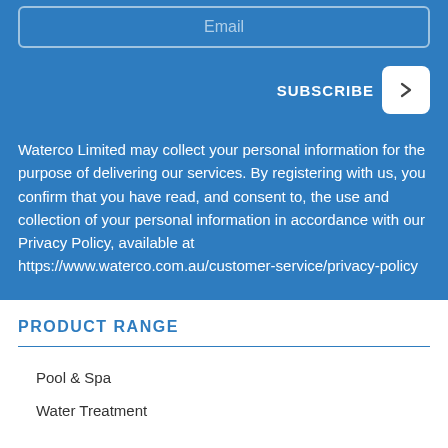Email
SUBSCRIBE
Waterco Limited may collect your personal information for the purpose of delivering our services. By registering with us, you confirm that you have read, and consent to, the use and collection of your personal information in accordance with our Privacy Policy, available at https://www.waterco.com.au/customer-service/privacy-policy
PRODUCT RANGE
Pool & Spa
Water Treatment